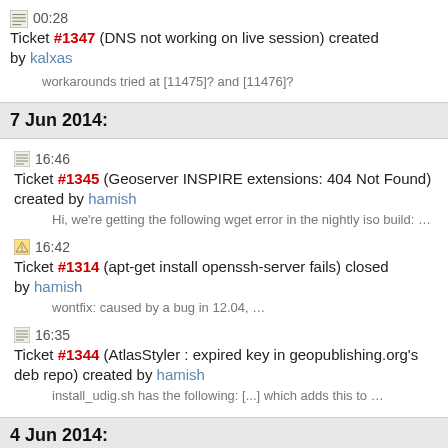00:28 Ticket #1347 (DNS not working on live session) created by kalxas
workarounds tried at [11475]? and [11476]?
7 Jun 2014:
16:46 Ticket #1345 (Geoserver INSPIRE extensions: 404 Not Found) created by hamish
Hi, we're getting the following wget error in the nightly iso build: …
16:42 Ticket #1314 (apt-get install openssh-server fails) closed by hamish
wontfix: caused by a bug in 12.04, …
16:35 Ticket #1344 (AtlasStyler : expired key in geopublishing.org's deb repo) created by hamish
install_udig.sh has the following: [...] which adds this to …
4 Jun 2014: